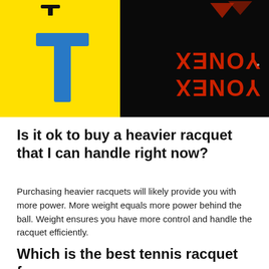[Figure (photo): Two-panel image: left panel shows a yellow background with a large blue letter T and a small black icon above it; right panel shows a dark background with YONEX branding text in red/orange letters displayed upside down or at an angle.]
Is it ok to buy a heavier racquet that I can handle right now?
Purchasing heavier racquets will likely provide you with more power. More weight equals more power behind the ball. Weight ensures you have more control and handle the racquet efficiently.
Which is the best tennis racquet for